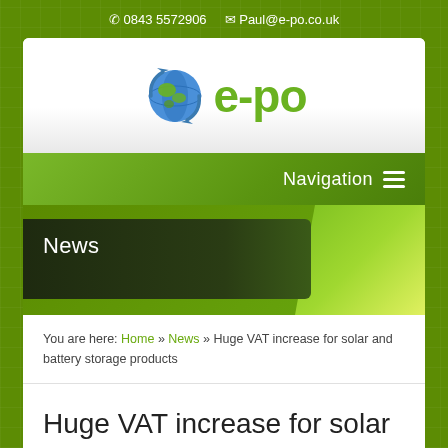📞 0843 5572906  ✉ Paul@e-po.co.uk
[Figure (logo): e-po company logo with globe icon and green text]
Navigation ≡
News
You are here: Home » News » Huge VAT increase for solar and battery storage products
Huge VAT increase for solar and battery storage products